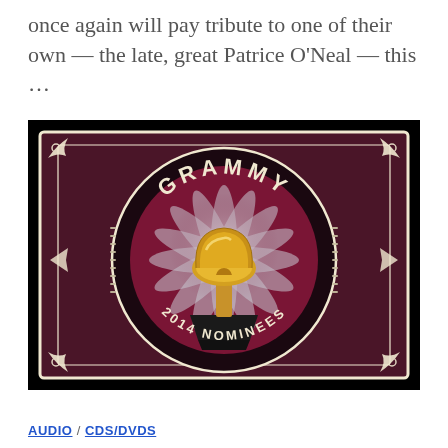once again will pay tribute to one of their own — the late, great Patrice O'Neal — this …
[Figure (logo): Grammy 2014 Nominees logo: gold gramophone trophy on black background with ornate decorative border and text 'GRAMMY 2014 NOMINEES']
AUDIO / CDS/DVDS